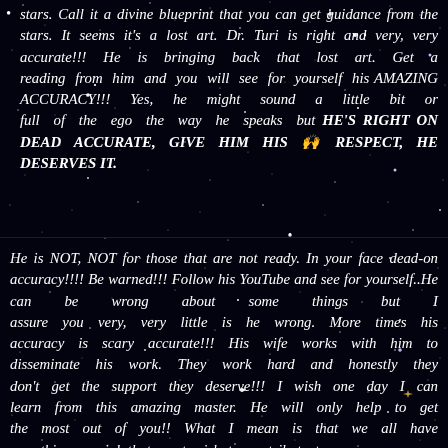stars. Call it a divine blueprint that you can get guidance from the stars. It seems it's a lost art. Dr. Turi is right and very, very accurate!!! He is bringing back that lost art. Get a reading from him and you will see for yourself his AMAZING ACCURACY!!! Yes, he might sound a little bit or full of the ego the way he speaks but HE'S RIGHT ON DEAD ACCURATE, GIVE HIM HIS 🙌 RESPECT, HE DESERVES IT.
He is NOT, NOT for those that are not ready. In your face dead-on accuracy!!!! Be warned!!! Follow his YouTube and see for yourself..He can be wrong about some things but I assure you very, very little is he wrong. More times his accuracy is scary accurate!!! His wife works with him to disseminate his work. They work hard and honestly they don't get the support they deserve!!! I wish one day I can learn from this amazing master. He will only help to get the most out of you!! What I mean is that we all have something special that most wish to contribute to our